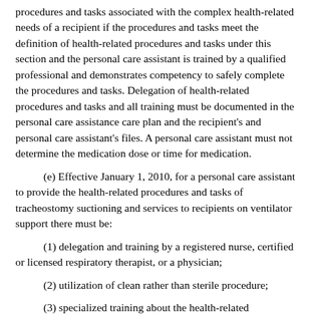procedures and tasks associated with the complex health-related needs of a recipient if the procedures and tasks meet the definition of health-related procedures and tasks under this section and the personal care assistant is trained by a qualified professional and demonstrates competency to safely complete the procedures and tasks. Delegation of health-related procedures and tasks and all training must be documented in the personal care assistance care plan and the recipient's and personal care assistant's files. A personal care assistant must not determine the medication dose or time for medication.
(e) Effective January 1, 2010, for a personal care assistant to provide the health-related procedures and tasks of tracheostomy suctioning and services to recipients on ventilator support there must be:
(1) delegation and training by a registered nurse, certified or licensed respiratory therapist, or a physician;
(2) utilization of clean rather than sterile procedure;
(3) specialized training about the health-related procedures and tasks and equipment, including ventilator operation and maintenance;